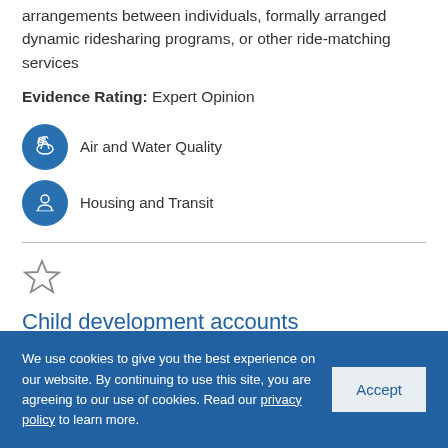arrangements between individuals, formally arranged dynamic ridesharing programs, or other ride-matching services
Evidence Rating:  Expert Opinion
Air and Water Quality
Housing and Transit
Child development accounts
We use cookies to give you the best experience on our website. By continuing to use this site, you are agreeing to our use of cookies. Read our privacy policy to learn more.